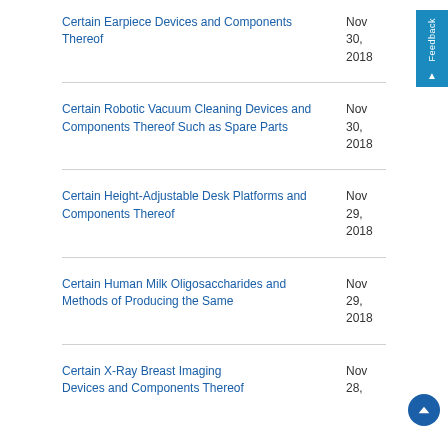Certain Earpiece Devices and Components Thereof	Nov 30, 2018
Certain Robotic Vacuum Cleaning Devices and Components Thereof Such as Spare Parts	Nov 30, 2018
Certain Height-Adjustable Desk Platforms and Components Thereof	Nov 29, 2018
Certain Human Milk Oligosaccharides and Methods of Producing the Same	Nov 29, 2018
Certain X-Ray Breast Imaging Devices and Components Thereof	Nov 28, ...